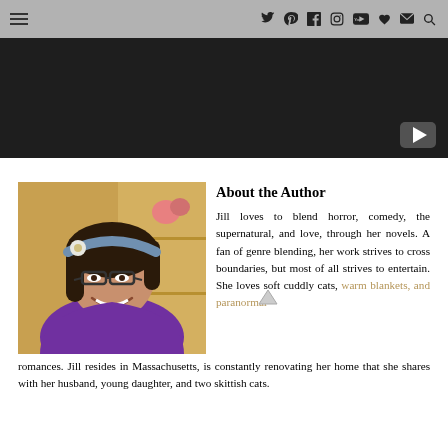≡  Twitter Pinterest Facebook Instagram YouTube Favorite Email Search
[Figure (screenshot): Dark video player area with YouTube play button in bottom-right corner]
[Figure (photo): Author photo: woman with dark hair, glasses, wearing purple top, smiling]
About the Author
Jill loves to blend horror, comedy, the supernatural, and love, through her novels. A fan of genre blending, her work strives to cross boundaries, but most of all strives to entertain. She loves soft cuddly cats, warm blankets, and paranormal romances. Jill resides in Massachusetts, is constantly renovating her home that she shares with her husband, young daughter, and two skittish cats.